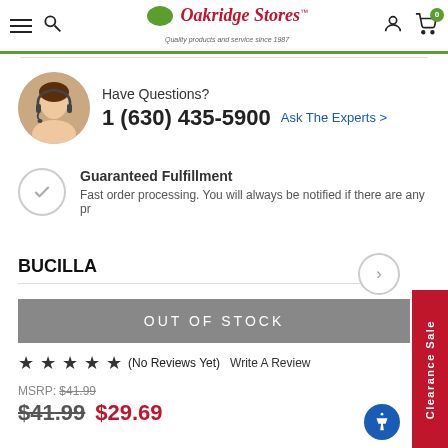Oakridge Stores — Quality products and service since 1987
Have Questions?
1 (630) 435-5900  Ask The Experts >
Guaranteed Fulfillment
Fast order processing. You will always be notified if there are any pr
BUCILLA
OUT OF STOCK
★★★★★ (No Reviews Yet)  Write A Review
MSRP: $41.99
$41.99  $29.69
Clearance Sale